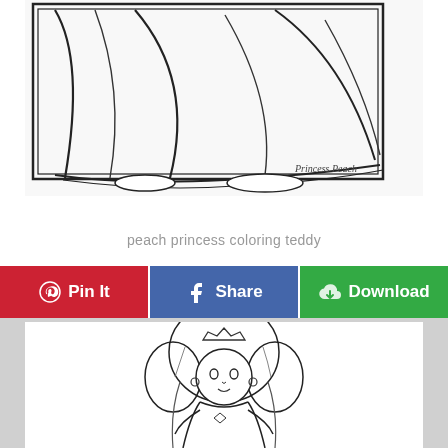[Figure (illustration): Coloring page outline of Princess Peach's dress/gown lower half with 'Princess Peach' handwritten text in bottom right corner, black and white line art]
peach princess coloring teddy
[Figure (illustration): Black and white ink sketch of Princess Peach from Mario, chibi-style, wearing crown and dress, holding something, with large fluffy hair]
Pin It
Share
Download